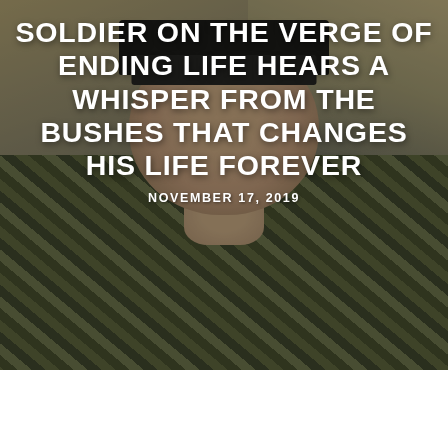[Figure (photo): A soldier in camouflage uniform wearing dark sunglasses, taking a selfie outdoors at a military base with vehicles and buildings visible in background. Photo has dark overlay tint.]
SOLDIER ON THE VERGE OF ENDING LIFE HEARS A WHISPER FROM THE BUSHES THAT CHANGES HIS LIFE FOREVER
NOVEMBER 17, 2019